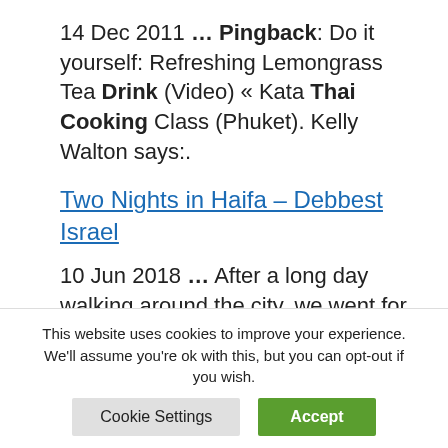14 Dec 2011 … Pingback: Do it yourself: Refreshing Lemongrass Tea Drink (Video) « Kata Thai Cooking Class (Phuket). Kelly Walton says:.
Two Nights in Haifa – Debbest Israel
10 Jun 2018 … After a long day walking around the city, we went for an early dinner at Chang Ba (Not Kosher), a wonderfully authentic Thai food restaurant.
This website uses cookies to improve your experience. We'll assume you're ok with this, but you can opt-out if you wish.